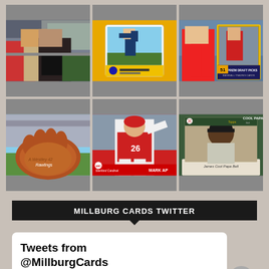[Figure (photo): Grid of 6 baseball-related photos: autograph signing at stadium, Topps baseball card on gold background, 2021 Prizm Draft Picks card, baseball glove signed by A. Westley at stadium, Stanford Cardinal pitcher Mark Ap card, Cool Papa Bell vintage baseball card with autograph]
MILLBURG CARDS TWITTER
Tweets from @MillburgCards